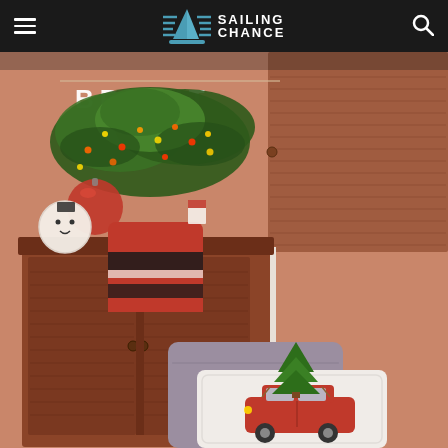Sailing Chance — navigation header with hamburger menu, logo, and search icon
[Figure (photo): Interior of a boat cabin decorated for Christmas. A wooden cabinet/locker with louvered doors has a small Christmas tree on top adorned with lights, ornaments, and a 'BRIGHT' banner. A snowman ornament and a figure wearing a red and black striped knit sweater are visible. In the foreground are a mauve/gray cushion and a white decorative throw pillow featuring an illustrated red station wagon with a Christmas tree strapped to its roof.]